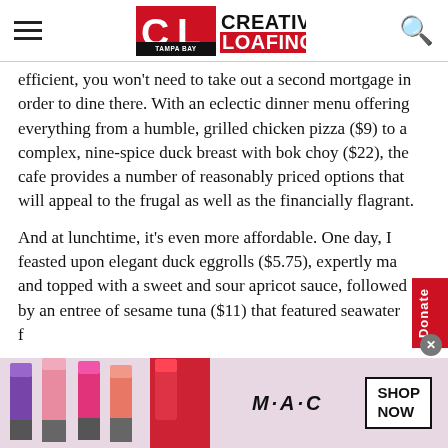Creative Loafing Tampa Bay
efficient, you won't need to take out a second mortgage in order to dine there. With an eclectic dinner menu offering everything from a humble, grilled chicken pizza ($9) to a complex, nine-spice duck breast with bok choy ($22), the cafe provides a number of reasonably priced options that will appeal to the frugal as well as the financially flagrant.
And at lunchtime, it's even more affordable. One day, I feasted upon elegant duck eggrolls ($5.75), expertly ma... and topped with a sweet and sour apricot sauce, followed by an entree of sesame tuna ($11) that featured seawater f...
[Figure (advertisement): MAC cosmetics advertisement showing lipsticks and SHOP NOW button]